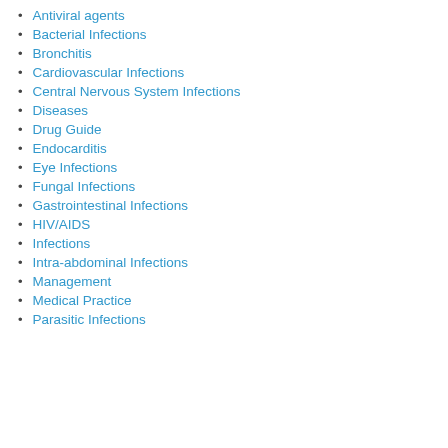Antiviral agents
Bacterial Infections
Bronchitis
Cardiovascular Infections
Central Nervous System Infections
Diseases
Drug Guide
Endocarditis
Eye Infections
Fungal Infections
Gastrointestinal Infections
HIV/AIDS
Infections
Intra-abdominal Infections
Management
Medical Practice
Parasitic Infections